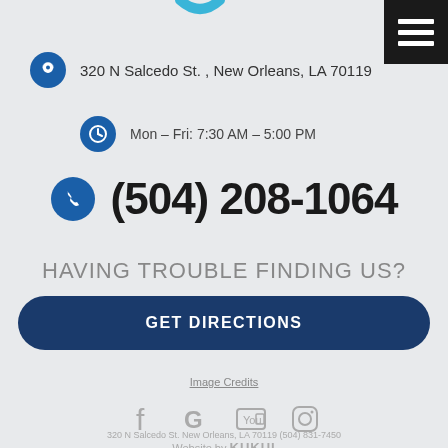[Figure (logo): Partial logo visible at top center]
[Figure (infographic): Hamburger menu icon (three white lines on black background) in top right corner]
320 N Salcedo St. , New Orleans, LA 70119
Mon – Fri: 7:30 AM – 5:00 PM
(504) 208-1064
HAVING TROUBLE FINDING US?
GET DIRECTIONS
Image Credits
[Figure (infographic): Social media icons: Facebook (f), Google (G), YouTube, Instagram]
320 N Salcedo St. New Orleans, LA 70119 (504) 831-7450
Website by KUKUI